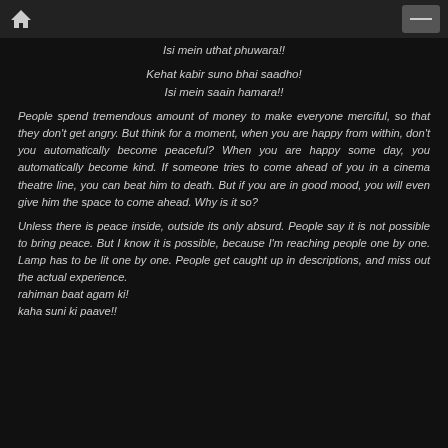Isi mein uthat phuwara!!
Kehat kabir suno bhai saadho!
Isi mein saain hamara!!
People spend tremendous amount of money to make everyone merciful, so that they don't get angry. But think for a moment, when you are happy from within, don't you automatically become peaceful? When you are happy some day, you automatically become kind. If someone tries to come ahead of you in a cinema theatre line, you can beat him to death. But if you are in good mood, you will even give him the space to come ahead. Why is it so?
Unless there is peace inside, outside its only absurd. People say it is not possible to bring peace. But I know it is possible, because I'm reaching people one by one. Lamp has to be lit one by one. People get caught up in descriptions, and miss out the actual experience.
rahiman baat agam ki!
kaha suni ki paave!!